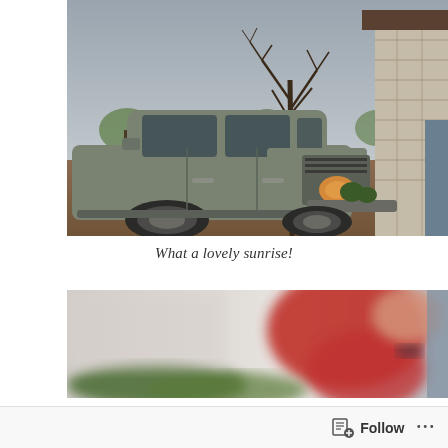[Figure (photo): Outdoor photo showing a gray SUV/truck (GMC) parked in a driveway next to a bare-limbed young tree, with a stone building visible on the right and overcast gray sky above. Taken at what appears to be a residential or commercial property.]
What a lovely sunrise!
[Figure (photo): Blurred/out-of-focus indoor photo showing a person wearing a red outfit, partially visible. The image is heavily blurred and cropped.]
Follow ...